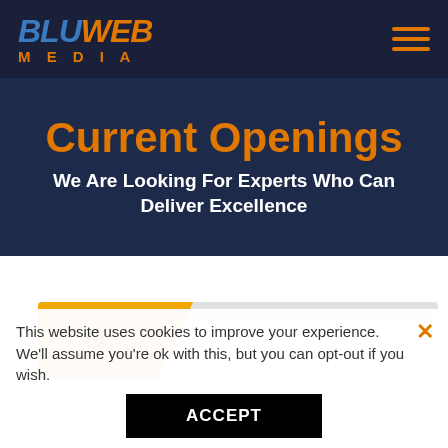BLUWEB MEDIA
Current Openings
We Are Looking For Experts Who Can Deliver Excellence
[Figure (illustration): Partial job card with yellow diagonal banner and gear/settings icon]
This website uses cookies to improve your experience. We'll assume you're ok with this, but you can opt-out if you wish.
ACCEPT